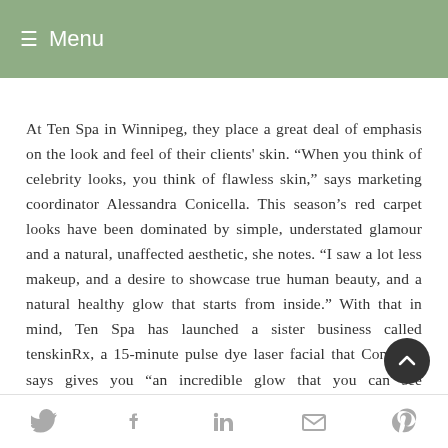≡ Menu
At Ten Spa in Winnipeg, they place a great deal of emphasis on the look and feel of their clients' skin. "When you think of celebrity looks, you think of flawless skin," says marketing coordinator Alessandra Conicella. This season's red carpet looks have been dominated by simple, understated glamour and a natural, unaffected aesthetic, she notes. "I saw a lot less makeup, and a desire to showcase true human beauty, and a natural healthy glow that starts from inside." With that in mind, Ten Spa has launched a sister business called tenskinRx, a 15-minute pulse dye laser facial that Conicella says gives you "an incredible glow that you can see immediately after your facial." The laser facial is a medical as well as cosmetic treatment, she says. "It helps activate collagen and stimulates cell regrowth." Conicella says. "It's an overall
Social share icons: Twitter, Facebook, LinkedIn, Email, Pinterest